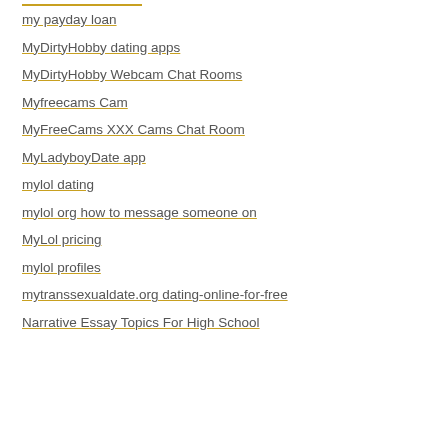my payday loan
MyDirtyHobby dating apps
MyDirtyHobby Webcam Chat Rooms
Myfreecams Cam
MyFreeCams XXX Cams Chat Room
MyLadyboyDate app
mylol dating
mylol org how to message someone on
MyLol pricing
mylol profiles
mytranssexualdate.org dating-online-for-free
Narrative Essay Topics For High School